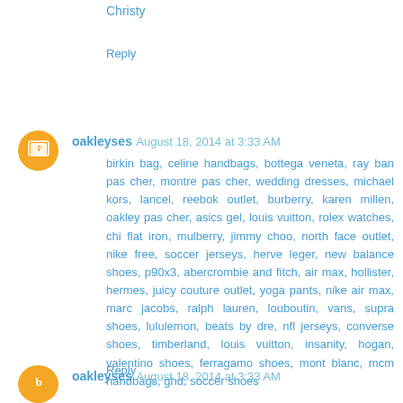Christy
Reply
oakleyses August 18, 2014 at 3:33 AM
birkin bag, celine handbags, bottega veneta, ray ban pas cher, montre pas cher, wedding dresses, michael kors, lancel, reebok outlet, burberry, karen millen, oakley pas cher, asics gel, louis vuitton, rolex watches, chi flat iron, mulberry, jimmy choo, north face outlet, nike free, soccer jerseys, herve leger, new balance shoes, p90x3, abercrombie and fitch, air max, hollister, hermes, juicy couture outlet, yoga pants, nike air max, marc jacobs, ralph lauren, louboutin, vans, supra shoes, lululemon, beats by dre, nfl jerseys, converse shoes, timberland, louis vuitton, insanity, hogan, valentino shoes, ferragamo shoes, mont blanc, mcm handbags, ghd, soccer shoes
Reply
oakleyses August 18, 2014 at 3:33 AM